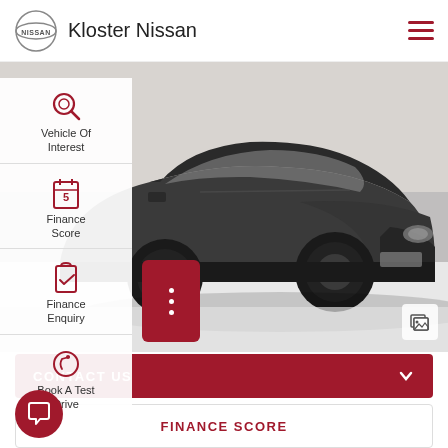Kloster Nissan
[Figure (photo): Dark grey SUV (Toyota RAV4 style) photographed in a showroom on a white floor, front-three-quarter view]
Vehicle Of Interest
Finance Score
Finance Enquiry
Book A Test Drive
CONTACT US
FINANCE SCORE